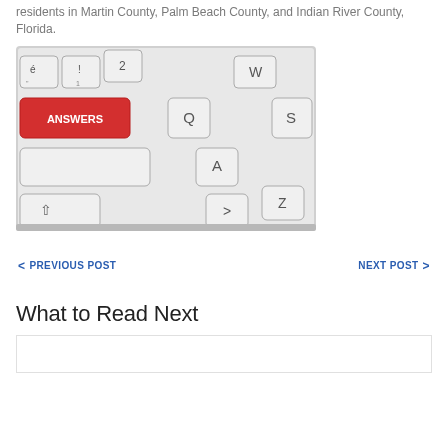residents in Martin County, Palm Beach County, and Indian River County, Florida.
[Figure (photo): Close-up photo of a computer keyboard with a red key labeled ANSWERS in white text, surrounded by standard white keyboard keys including Q, W, A, Z, and others.]
< PREVIOUS POST
NEXT POST >
What to Read Next